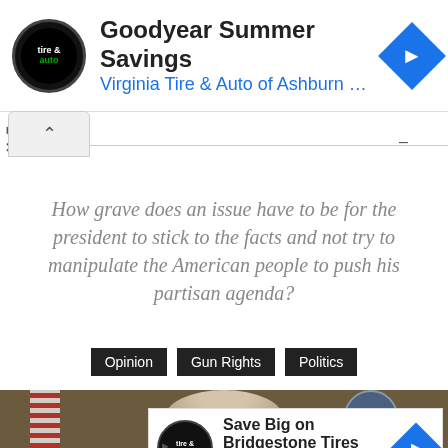[Figure (screenshot): Advertisement banner: Goodyear Summer Savings - Virginia Tire & Auto of Ashburn ... with logo and navigation icon]
How grave does an issue have to be for the president to stick to the facts and not try to manipulate the American people to push his partisan agenda?
Opinion
Gun Rights
Politics
[Figure (photo): Photograph of a person (president) with American flag and presidential seal in background]
[Figure (screenshot): Advertisement banner: Save Big on Bridgestone Tires - Virginia Tire & Auto of Ashburn Fa. with logo and navigation icon]